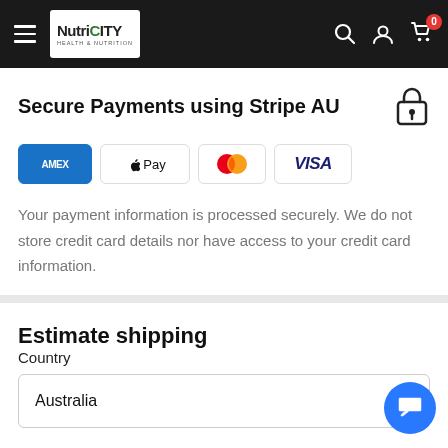NutriCITY — navigation header with hamburger menu, logo, search, account, and cart (0 items)
Secure Payments using Stripe AU
[Figure (logo): Payment method logos: American Express (AMEX), Apple Pay, Mastercard, VISA]
Your payment information is processed securely. We do not store credit card details nor have access to your credit card information.
Estimate shipping
Country
Australia